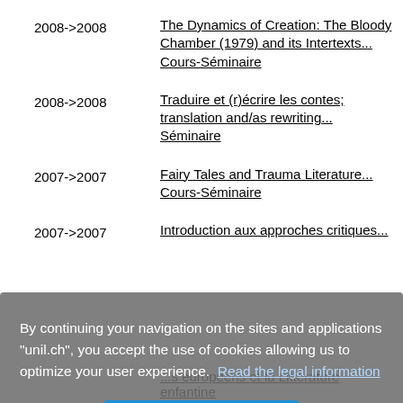2008->2008 | The Dynamics of Creation: The Bloody Chamber (1979) and its Intertexts... Cours-Séminaire
2008->2008 | Traduire et (r)écrire les contes; translation and/as rewriting... Séminaire
2007->2007 | Fairy Tales and Trauma Literature... Cours-Séminaire
2007->2007 | Introduction aux approches critiques...
By continuing your navigation on the sites and applications "unil.ch", you accept the use of cookies allowing us to optimize your user experience. Read the legal information
OK
...s européens et la Littérature enfantine